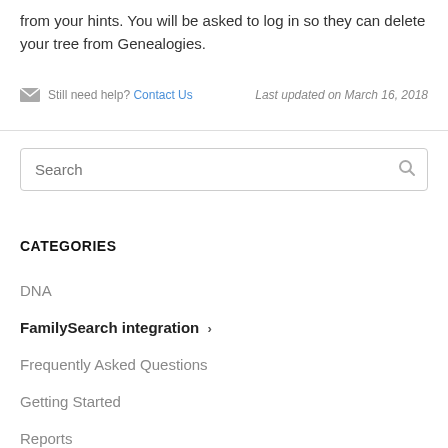from your hints. You will be asked to log in so they can delete your tree from Genealogies.
Still need help? Contact Us    Last updated on March 16, 2018
DNA
FamilySearch integration ›
Frequently Asked Questions
Getting Started
Reports
GEDCOM